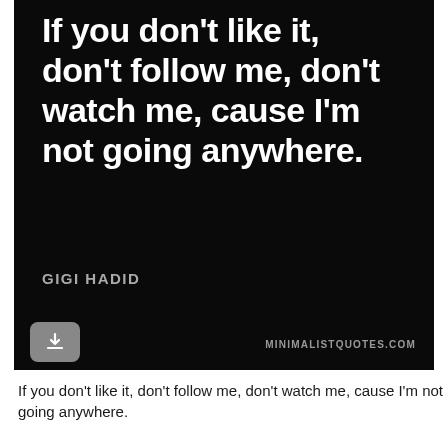[Figure (illustration): Black background quote card with large white bold text reading 'If you don't like it, don't follow me, don't watch me, cause I'm not going anywhere.' with attribution 'GIGI HADID' below and a download button and 'MINIMALISTQUOTES.COM' watermark at the bottom.]
If you don't like it, don't follow me, don't watch me, cause I'm not going anywhere.